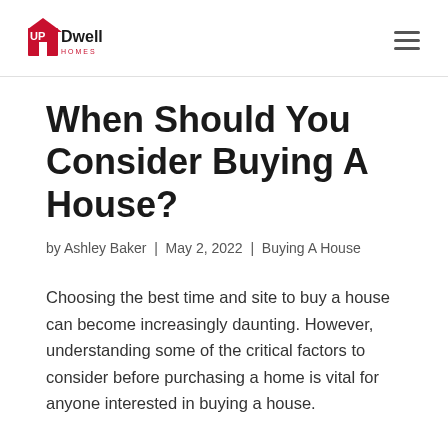UPDwell HOMES
When Should You Consider Buying A House?
by Ashley Baker | May 2, 2022 | Buying A House
Choosing the best time and site to buy a house can become increasingly daunting. However, understanding some of the critical factors to consider before purchasing a home is vital for anyone interested in buying a house.